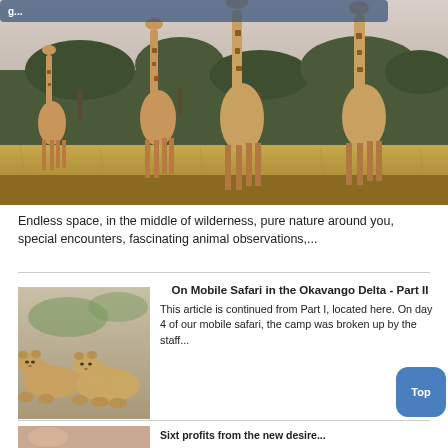[Figure (photo): A herd of giraffes standing in savanna grassland with trees in the background under a pale sky.]
Endless space, in the middle of wilderness, pure nature around you, special encounters, fascinating animal observations,...
[Figure (photo): Two lion cubs resting on a sandy surface outdoors.]
On Mobile Safari in the Okavango Delta - Part II
This article is continued from Part I, located here. On day 4 of our mobile safari, the camp was broken up by the staff...
[Figure (photo): Partial view of a person, bottom of another article row.]
Sixt profits from the new desire...